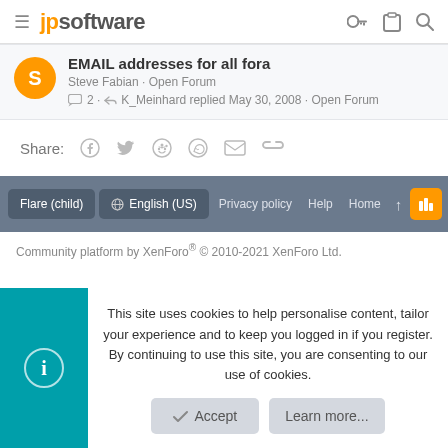jpsoftware
EMAIL addresses for all fora
Steve Fabian · Open Forum
2 · K_Meinhard replied May 30, 2008 · Open Forum
Share:
Flare (child)  English (US)  Privacy policy  Help  Home
Community platform by XenForo® © 2010-2021 XenForo Ltd.
This site uses cookies to help personalise content, tailor your experience and to keep you logged in if you register.
By continuing to use this site, you are consenting to our use of cookies.
Accept
Learn more...